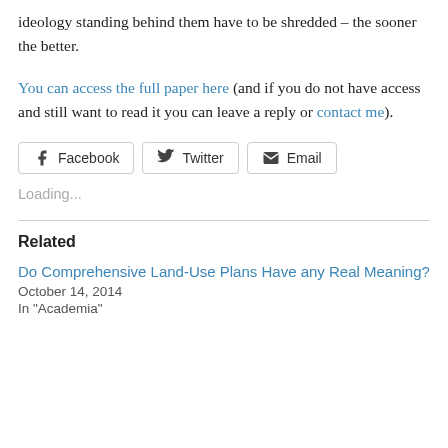ideology standing behind them have to be shredded – the sooner the better.
You can access the full paper here (and if you do not have access and still want to read it you can leave a reply or contact me).
[Figure (other): Social sharing buttons: Facebook, Twitter, Email]
Loading...
Related
Do Comprehensive Land-Use Plans Have any Real Meaning?
October 14, 2014
In "Academia"